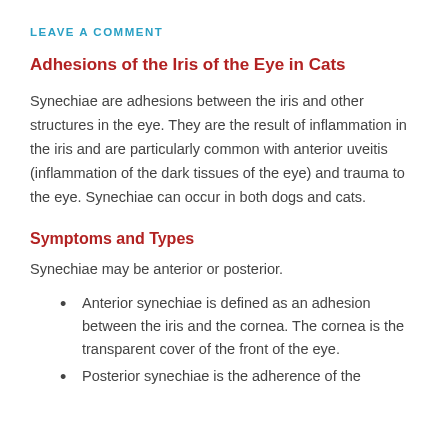LEAVE A COMMENT
Adhesions of the Iris of the Eye in Cats
Synechiae are adhesions between the iris and other structures in the eye. They are the result of inflammation in the iris and are particularly common with anterior uveitis (inflammation of the dark tissues of the eye) and trauma to the eye. Synechiae can occur in both dogs and cats.
Symptoms and Types
Synechiae may be anterior or posterior.
Anterior synechiae is defined as an adhesion between the iris and the cornea. The cornea is the transparent cover of the front of the eye.
Posterior synechiae is the adherence of the